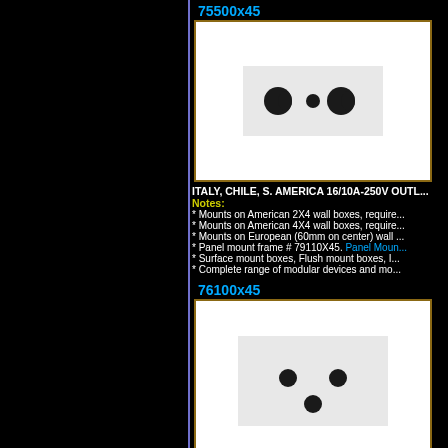75500x45
[Figure (photo): Product image of 75500x45 outlet showing two sets of holes on a light gray rectangular panel with white background and brown border frame]
ITALY, CHILE, S. AMERICA 16/10A-250V OUTL...
Notes:
* Mounts on American 2X4 wall boxes, require...
* Mounts on American 4X4 wall boxes, require...
* Mounts on European (60mm on center) wall ...
* Panel mount frame # 79110X45. Panel Moun...
* Surface mount boxes, Flush mount boxes, I...
* Complete range of modular devices and mo...
76100x45
[Figure (photo): Product image of 76100x45 outlet showing three circular holes arranged in triangular pattern on a light gray rectangular panel with white background and brown border frame]